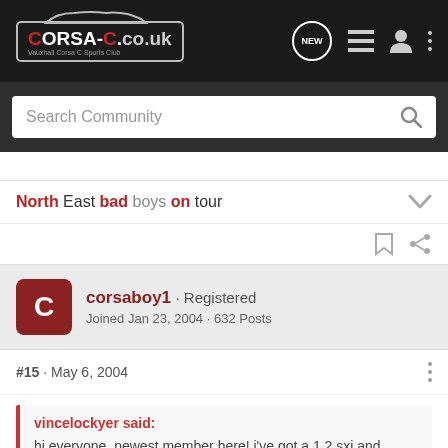CORSA-C.co.uk - Vauxhall Corsa C Sports Club
North East bad boys on tour
corsaboy1 · Registered
Joined Jan 23, 2004 · 632 Posts
#15 · May 6, 2004
vincelockyer said:
hi everyone, newest member here! i've got a 1.2 sxi and looking to improve the audio and maybe some stuff to the body? don't know the